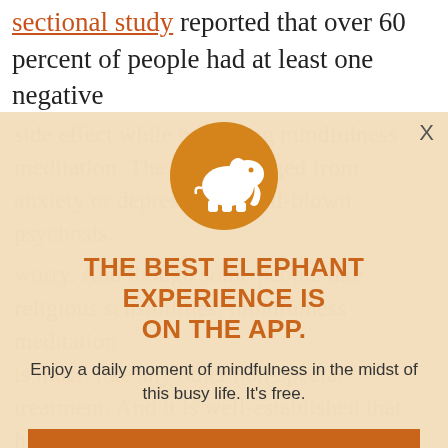sectional study reported that over 60 percent of people had at least one negative
[Figure (illustration): App promotion modal overlay with orange elephant logo circle, headline, subtitle, and two call-to-action buttons on a warm beige background]
THE BEST ELEPHANT EXPERIENCE IS ON THE APP.
Enjoy a daily moment of mindfulness in the midst of this busy life. It's free.
GET THE APP
OPEN IN APP